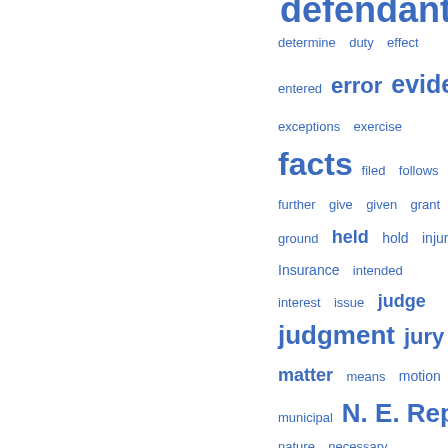[Figure (other): Word cloud of legal terms in blue, varying font sizes indicating frequency. Terms include: defendant (large, top), determine, duty, effect, entered, error, evidence (large), exceptions, exercise, facts (large), filed, follows, further, give, given, grant, ground, held, hold, injury, Insurance, intended, interest, issue, judge, judgment (large), jury, liability, matter, means, motion, municipal, N. E. Rep (large), nature, necessary, negligence, notice, Ohio St (very large), operation, opinion, paid, parties, payment, person, petition, plaintiff (very large), present, proceedings, prayer]